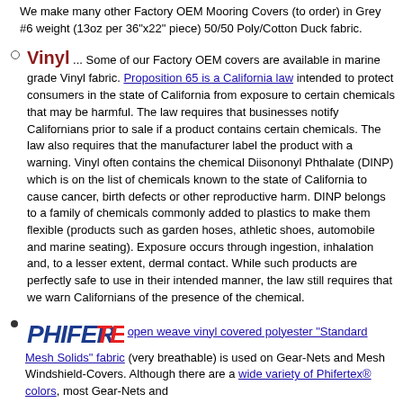We make many other Factory OEM Mooring Covers (to order) in Grey #6 weight (13oz per 36"x22" piece) 50/50 Poly/Cotton Duck fabric.
Vinyl ... Some of our Factory OEM covers are available in marine grade Vinyl fabric. Proposition 65 is a California law intended to protect consumers in the state of California from exposure to certain chemicals that may be harmful. The law requires that businesses notify Californians prior to sale if a product contains certain chemicals. The law also requires that the manufacturer label the product with a warning. Vinyl often contains the chemical Diisononyl Phthalate (DINP) which is on the list of chemicals known to the state of California to cause cancer, birth defects or other reproductive harm. DINP belongs to a family of chemicals commonly added to plastics to make them flexible (products such as garden hoses, athletic shoes, automobile and marine seating). Exposure occurs through ingestion, inhalation and, to a lesser extent, dermal contact. While such products are perfectly safe to use in their intended manner, the law still requires that we warn Californians of the presence of the chemical.
PHIFERTEX open weave vinyl covered polyester "Standard Mesh Solids" fabric (very breathable) is used on Gear-Nets and Mesh Windshield-Covers. Although there are a wide variety of Phifertex® colors, most Gear-Nets and